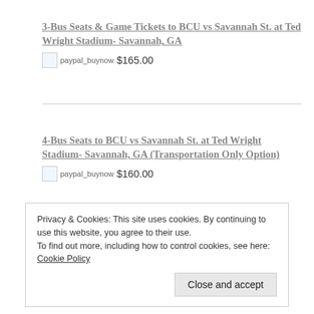3-Bus Seats & Game Tickets to BCU vs Savannah St. at Ted Wright Stadium- Savannah, GA
paypal_buynow $165.00
4-Bus Seats to BCU vs Savannah St. at Ted Wright Stadium- Savannah, GA (Transportation Only Option)
paypal_buynow $160.00
Privacy & Cookies: This site uses cookies. By continuing to use this website, you agree to their use.
To find out more, including how to control cookies, see here: Cookie Policy